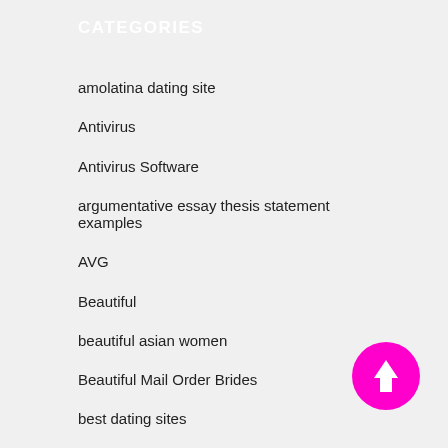CATEGORIES
amolatina dating site
Antivirus
Antivirus Software
argumentative essay thesis statement examples
AVG
Beautiful
beautiful asian women
Beautiful Mail Order Brides
best dating sites
biker dating site
[Figure (illustration): Magenta circular back-to-top button with white upward arrow icon]